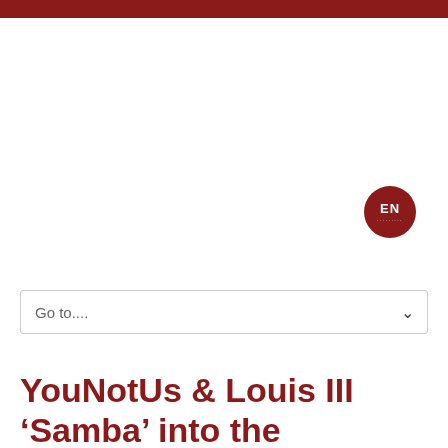[Figure (other): Red circular badge with 'EN' text and dotted underline, representing a language selector button]
Go to....
YouNotUs & Louis III ‘Samba’ into the weekend!